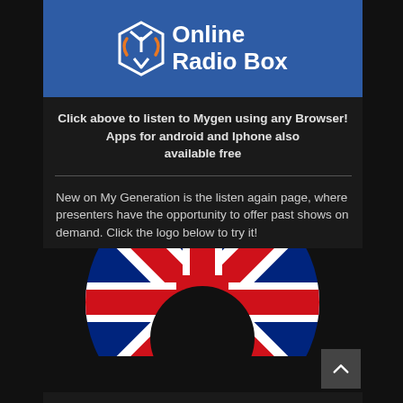[Figure (logo): Online Radio Box logo banner — blue background with stylized white/orange icon and bold white text reading 'Online Radio Box']
Click above to listen to Mygen using any Browser!
Apps for android and Iphone also available free
New on My Generation is the listen again page, where presenters have the opportunity to offer past shows on demand. Click the logo below to try it!
[Figure (logo): Circular logo with Union Jack (UK flag) pattern — red, white, and blue — with a black circle in the center, on a black background]